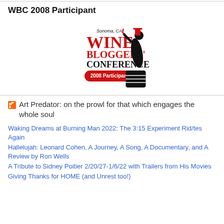WBC 2008 Participant
[Figure (logo): Wine Bloggers' Conference Sonoma, CA 2008 Participant badge logo with a wine bottle pourer figure and barrel]
Art Predator: on the prowl for that which engages the whole soul
Waking Dreams at Burning Man 2022: The 3:15 Experiment Rid/tes Again
Hallelujah: Leonard Cohen, A Journey, A Song, A Documentary, and A Review by Ron Wells
A Tribute to Sidney Poitier 2/20/27-1/6/22 with Trailers from His Movies
Giving Thanks for HOME (and Unrest too!)